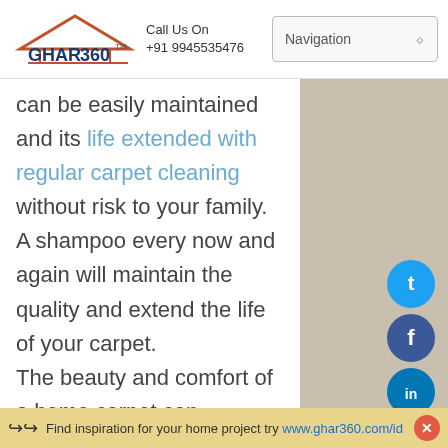GHAR 360 | Call Us On +91 9945535476 | Navigation
can be easily maintained and its life extended with regular carpet cleaning without risk to your family. A shampoo every now and again will maintain the quality and extend the life of your carpet.
The beauty and comfort of a home carpet can transform a cold, large room into a warm, cozy living space. Many
[Figure (infographic): Social media icons (Twitter, Facebook, LinkedIn, Google+) arranged vertically as hexagonal/circular badges on the right sidebar]
Find inspiration for your home project try www.ghar360.com/id